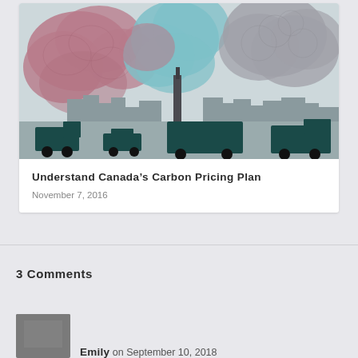[Figure (illustration): Artistic illustration of colorful smoke clouds (pink, blue, grey) billowing from industrial smokestacks over a city silhouette with vehicles in dark teal in the foreground]
Understand Canada’s Carbon Pricing Plan
November 7, 2016
3 Comments
Emily on September 10, 2018